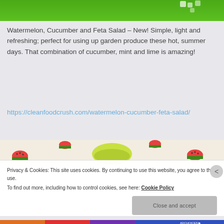[Figure (photo): Top portion of a food/recipe website showing a green background image, likely a watermelon salad photo cropped at top]
Watermelon, Cucumber and Feta Salad – New! Simple, light and refreshing; perfect for using up garden produce these hot, summer days. That combination of cucumber, mint and lime is amazing!
https://cleanfoodcrush.com/watermelon-cucumber-feta-salad/
[Figure (photo): Bottom portion of food image showing plates with watermelon slice pattern and a green bowl]
Privacy & Cookies: This site uses cookies. By continuing to use this website, you agree to their use.
To find out more, including how to control cookies, see here: Cookie Policy
Close and accept